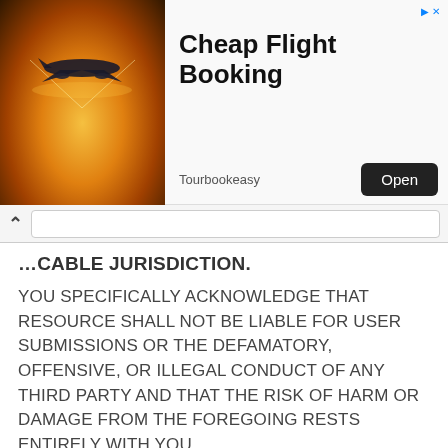[Figure (screenshot): Advertisement banner for 'Cheap Flight Booking' by Tourbookeasy with airplane image, title, and Open button]
CABLE JURISDICTION.
YOU SPECIFICALLY ACKNOWLEDGE THAT RESOURCE SHALL NOT BE LIABLE FOR USER SUBMISSIONS OR THE DEFAMATORY, OFFENSIVE, OR ILLEGAL CONDUCT OF ANY THIRD PARTY AND THAT THE RISK OF HARM OR DAMAGE FROM THE FOREGOING RESTS ENTIRELY WITH YOU.
lyricsiq LTD makes no representations that the Website is appropriate or available for use in other locations. Those who access or use the Website from other jurisdictions do so at their own volition and are responsible for compliance with local law.